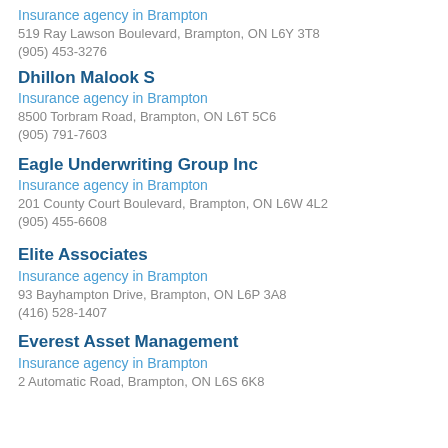Insurance agency in Brampton
519 Ray Lawson Boulevard, Brampton, ON L6Y 3T8
(905) 453-3276
Dhillon Malook S
Insurance agency in Brampton
8500 Torbram Road, Brampton, ON L6T 5C6
(905) 791-7603
Eagle Underwriting Group Inc
Insurance agency in Brampton
201 County Court Boulevard, Brampton, ON L6W 4L2
(905) 455-6608
Elite Associates
Insurance agency in Brampton
93 Bayhampton Drive, Brampton, ON L6P 3A8
(416) 528-1407
Everest Asset Management
Insurance agency in Brampton
2 Automatic Road, Brampton, ON L6S 6K8